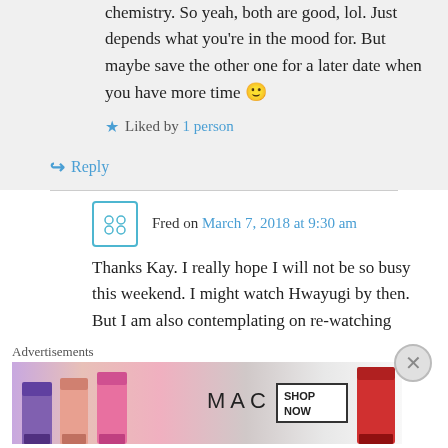chemistry. So yeah, both are good, lol. Just depends what you're in the mood for. But maybe save the other one for a later date when you have more time 🙂
★ Liked by 1 person
↳ Reply
Fred on March 7, 2018 at 9:30 am
Thanks Kay. I really hope I will not be so busy this weekend. I might watch Hwayugi by then. But I am also contemplating on re-watching
Advertisements
[Figure (photo): MAC cosmetics advertisement banner showing lipsticks with SHOP NOW button]